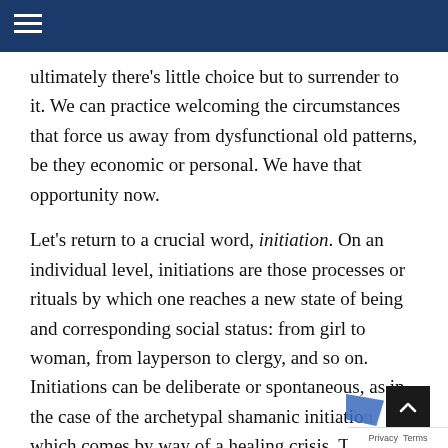natural to resist radical, painful change. But
ultimately there's little choice but to surrender to it. We can practice welcoming the circumstances that force us away from dysfunctional old patterns, be they economic or personal. We have that opportunity now.
Let's return to a crucial word, initiation. On an individual level, initiations are those processes or rituals by which one reaches a new state of being and corresponding social status: from girl to woman, from layperson to clergy, and so on. Initiations can be deliberate or spontaneous, as in the case of the archetypal shamanic initiation which comes by way of a healing crisis. To